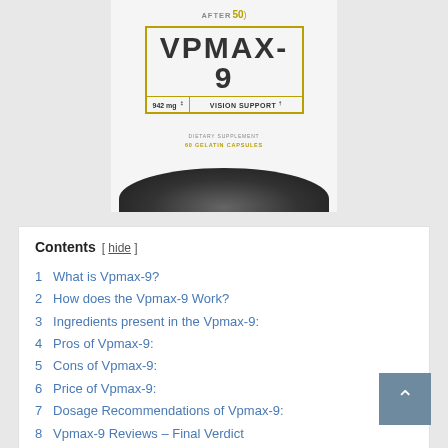[Figure (photo): Product photo of VPMAX-9 supplement bottle by After 50. Label shows 942mg, Vision Support, Dietary Supplement, 60 Gelatin Capsules. White bottle with gold border label, dark bottom.]
Contents [ hide ]
1  What is Vpmax-9?
2  How does the Vpmax-9 Work?
3  Ingredients present in the Vpmax-9:
4  Pros of Vpmax-9:
5  Cons of Vpmax-9:
6  Price of Vpmax-9:
7  Dosage Recommendations of Vpmax-9:
8  Vpmax-9 Reviews – Final Verdict